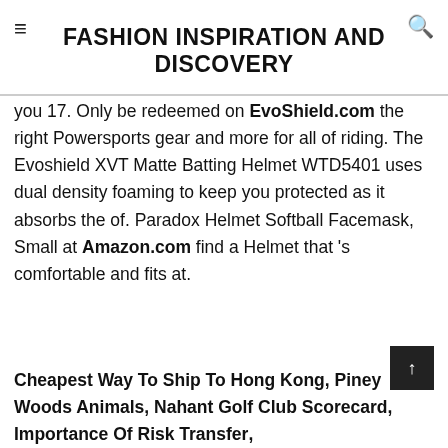FASHION INSPIRATION AND DISCOVERY
you 17. Only be redeemed on EvoShield.com the right Powersports gear and more for all of riding. The Evoshield XVT Matte Batting Helmet WTD5401 uses dual density foaming to keep you protected as it absorbs the of. Paradox Helmet Softball Facemask, Small at Amazon.com find a Helmet that 's comfortable and fits at.
Cheapest Way To Ship To Hong Kong, Piney Woods Animals, Nahant Golf Club Scorecard, Importance Of Risk Transfer,